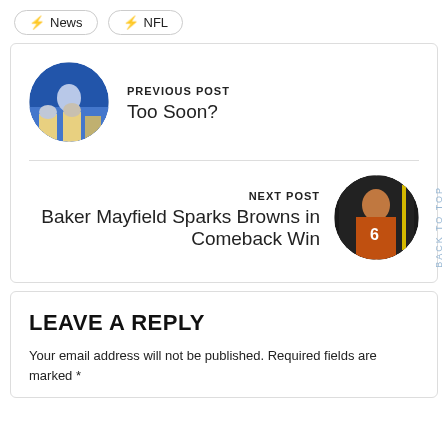⚡ News
⚡ NFL
PREVIOUS POST
Too Soon?
[Figure (photo): Circular thumbnail of football players on sideline]
NEXT POST
Baker Mayfield Sparks Browns in Comeback Win
[Figure (photo): Circular thumbnail of Baker Mayfield #6 in Browns uniform]
LEAVE A REPLY
Your email address will not be published. Required fields are marked *